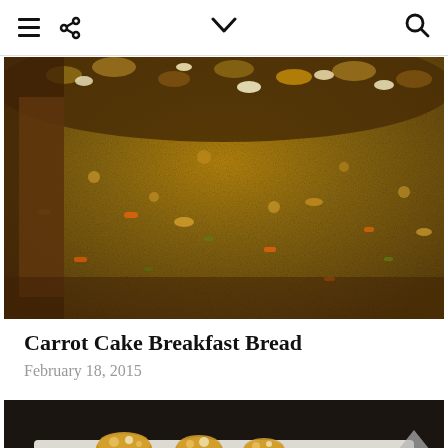Navigation bar with menu, share, dropdown, and search icons
[Figure (photo): Close-up macro photo of a sliced carrot cake breakfast bread loaf showing dense crumb with visible shredded carrots, zucchini, and chopped walnuts/pecans on top]
Carrot Cake Breakfast Bread
February 18, 2015
[Figure (photo): Partial photo of another food item on a white cloth/napkin with dark background, showing baked goods with nuts]